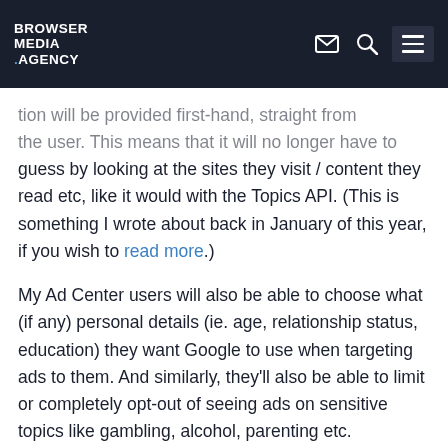BROWSER MEDIA .AGENCY
tion will be provided first-hand, straight from the user. This means that it will no longer have to guess by looking at the sites they visit / content they read etc, like it would with the Topics API. (This is something I wrote about back in January of this year, if you wish to read more.)
My Ad Center users will also be able to choose what (if any) personal details (ie. age, relationship status, education) they want Google to use when targeting ads to them. And similarly, they'll also be able to limit or completely opt-out of seeing ads on sensitive topics like gambling, alcohol, parenting etc.
Google also announced that it is expanding its control options, when you see an ad you do or do not like. This means that the user doesn't need to